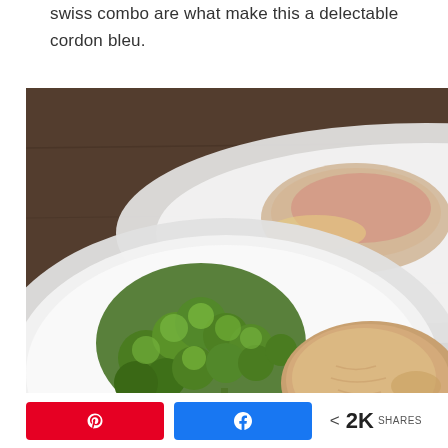swiss combo are what make this a delectable cordon bleu.
[Figure (photo): Two white plates on a dark wooden table. The top plate shows a chicken cordon bleu roll with ham and melted cheese with broccoli on the side. The bottom plate in the foreground shows steamed broccoli florets and a plain cooked chicken breast.]
Pinterest share button | Facebook share button | < 2K SHARES